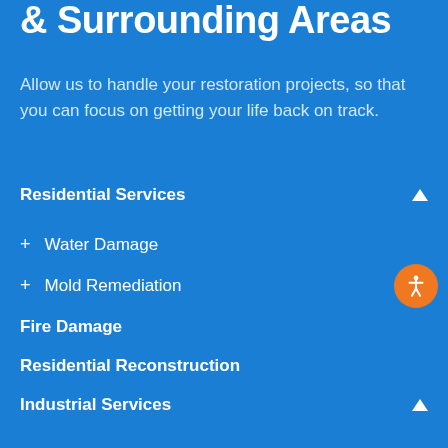& Surrounding Areas
Allow us to handle your restoration projects, so that you can focus on getting your life back on track.
Residential Services
+ Water Damage
+ Mold Remediation
Fire Damage
Residential Reconstruction
Industrial Services
Refinery And Factory Cleanup
Air Duct Cleaning